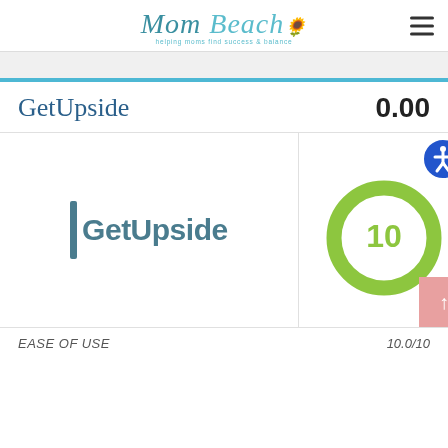Mom Beach — helping moms find success & balance
GetUpside
0.00
[Figure (logo): GetUpside brand logo with teal vertical bar and bold teal text]
[Figure (infographic): Circular score badge with green ring showing number 10]
EASE OF USE   10.0/10